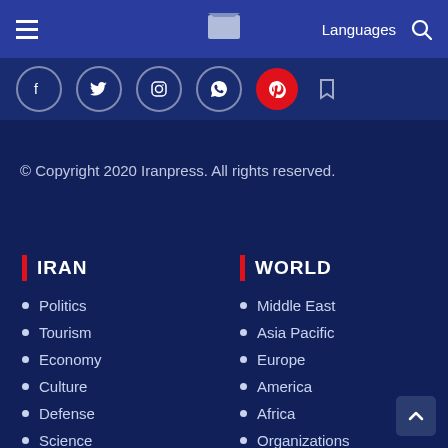Languages
[Figure (screenshot): Social media icon buttons row: Facebook, Twitter, Instagram, WhatsApp, Pinterest (red), Bookmark]
© Copyright 2020 Iranpress. All rights reserved.
IRAN
Politics
Tourism
Economy
Culture
Defense
Science
WORLD
Middle East
Asia Pacific
Europe
America
Africa
Organizations